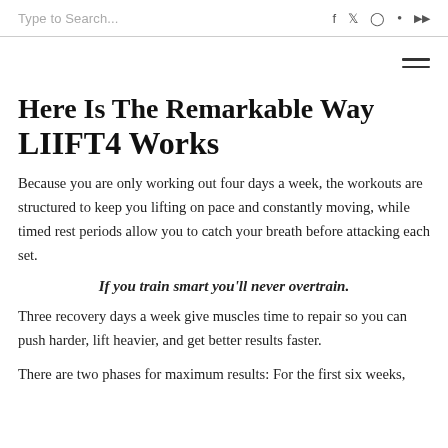Type to Search...
Here Is The Remarkable Way LIIFT4 Works
Because you are only working out four days a week, the workouts are structured to keep you lifting on pace and constantly moving, while timed rest periods allow you to catch your breath before attacking each set.
If you train smart you'll never overtrain.
Three recovery days a week give muscles time to repair so you can push harder, lift heavier, and get better results faster.
There are two phases for maximum results: For the first six weeks,